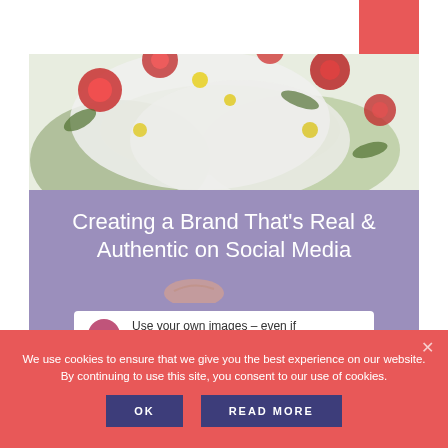[Figure (photo): Floral pattern fabric/clothing photo with white, red, yellow and green flowers]
Creating a Brand That's Real & Authentic on Social Media
1. Use your own images – even if they aren't perfect.
We use cookies to ensure that we give you the best experience on our website. By continuing to use this site, you consent to our use of cookies.
OK
READ MORE